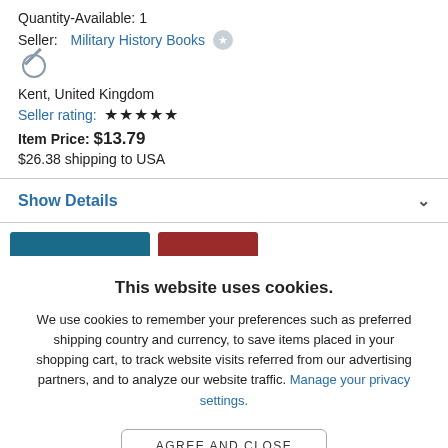Quantity-Available: 1
Seller: Military History Books
Kent, United Kingdom
Seller rating: ★★★★★
Item Price: $13.79
$26.38 shipping to USA
Show Details
This website uses cookies.
We use cookies to remember your preferences such as preferred shipping country and currency, to save items placed in your shopping cart, to track website visits referred from our advertising partners, and to analyze our website traffic. Manage your privacy settings.
AGREE AND CLOSE